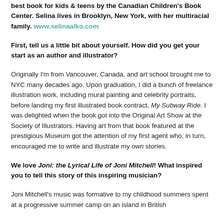best book for kids & teens by the Canadian Children's Book Center. Selina lives in Brooklyn, New York, with her multiracial family. www.selinaalko.com
First, tell us a little bit about yourself. How did you get your start as an author and illustrator?
Originally I'm from Vancouver, Canada, and art school brought me to NYC many decades ago. Upon graduation, I did a bunch of freelance illustration work, including mural painting and celebrity portraits, before landing my first illustrated book contract, My Subway Ride. I was delighted when the book got into the Original Art Show at the Society of Illustrators. Having art from that book featured at the prestigious Museum got the attention of my first agent who, in turn, encouraged me to write and illustrate my own stories.
We love Joni: the Lyrical Life of Joni Mitchell! What inspired you to tell this story of this inspiring musician?
Joni Mitchell's music was formative to my childhood summers spent at a progressive summer camp on an island in British